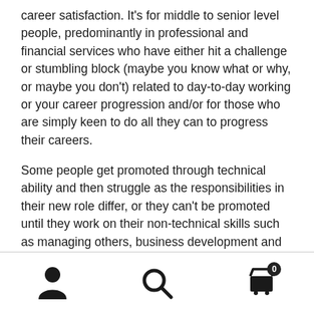career satisfaction. It's for middle to senior level people, predominantly in professional and financial services who have either hit a challenge or stumbling block (maybe you know what or why, or maybe you don't) related to day-to-day working or your career progression and/or for those who are simply keen to do all they can to progress their careers.
Some people get promoted through technical ability and then struggle as the responsibilities in their new role differ, or they can't be promoted until they work on their non-technical skills such as managing others, business development and building strategic relationships.
This book reveals why these skills matter, and provides
[Figure (other): Bottom navigation bar with three icons: user/person icon on the left, search magnifying glass icon in the center, and a shopping cart icon with badge showing '0' on the right]